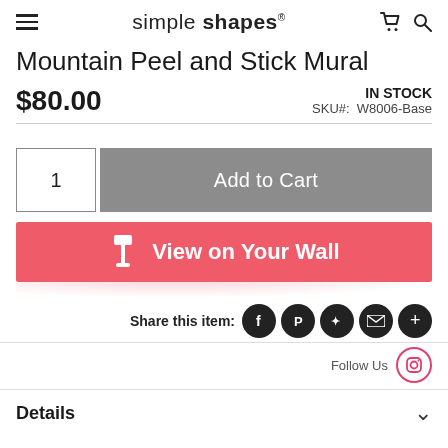simple shapes
Mountain Peel and Stick Mural
$80.00
IN STOCK SKU#: W8006-Base
1  Add to Cart
View on Your Wall
Share this item:
Follow Us
Details